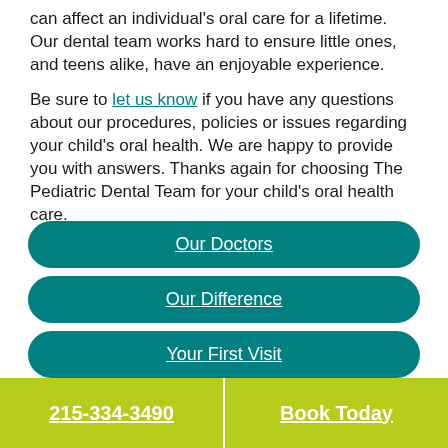can affect an individual's oral care for a lifetime. Our dental team works hard to ensure little ones, and teens alike, have an enjoyable experience.
Be sure to let us know if you have any questions about our procedures, policies or issues regarding your child's oral health. We are happy to provide you with answers. Thanks again for choosing The Pediatric Dental Team for your child's oral health care.
Our Doctors
Our Difference
Your First Visit
215-334-3490    Book Today